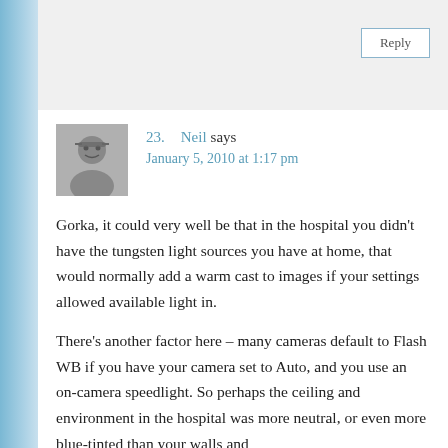Reply
23. Neil says
January 5, 2010 at 1:17 pm
Gorka, it could very well be that in the hospital you didn't have the tungsten light sources you have at home, that would normally add a warm cast to images if your settings allowed available light in.
There's another factor here – many cameras default to Flash WB if you have your camera set to Auto, and you use an on-camera speedlight. So perhaps the ceiling and environment in the hospital was more neutral, or even more blue-tinted than your walls and